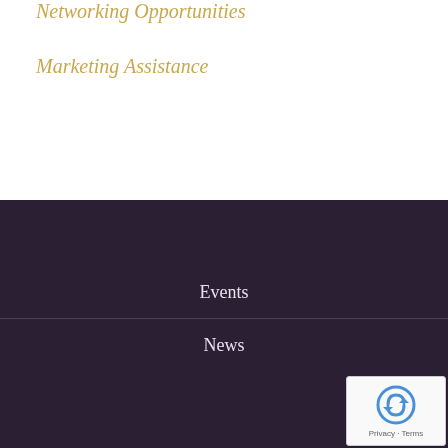Networking Opportunities
Marketing Assistance
Events
News